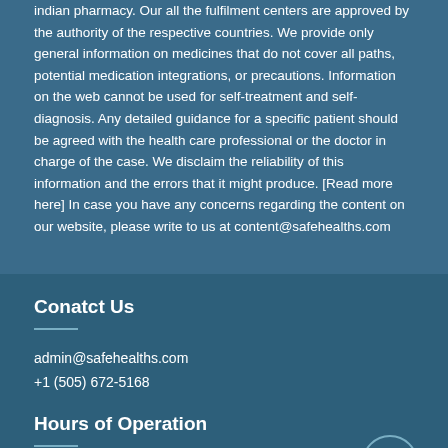indian pharmacy. Our all the fulfilment centers are approved by the authority of the respective countries. We provide only general information on medicines that do not cover all paths, potential medication integrations, or precautions. Information on the web cannot be used for self-treatment and self-diagnosis. Any detailed guidance for a specific patient should be agreed with the health care professional or the doctor in charge of the case. We disclaim the reliability of this information and the errors that it might produce. [Read more here] In case you have any concerns regarding the content on our website, please write to us at content@safehealths.com
Conatct Us
admin@safehealths.com
+1 (505) 672-5168
Hours of Operation
All Times Indian STD